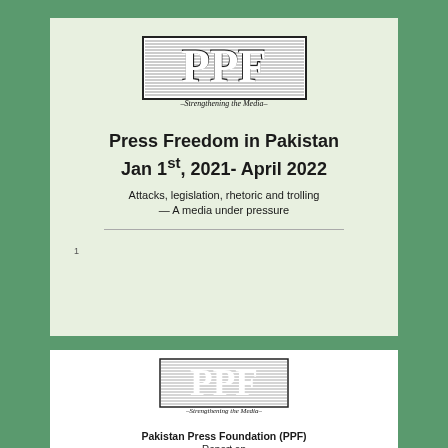[Figure (logo): PPF logo with horizontal lines pattern and text 'Strengthening the Media' below]
Press Freedom in Pakistan Jan 1st, 2021- April 2022
Attacks, legislation, rhetoric and trolling — A media under pressure
[Figure (logo): PPF logo smaller version with text 'Strengthening the Media' below]
Pakistan Press Foundation (PPF)
Report on